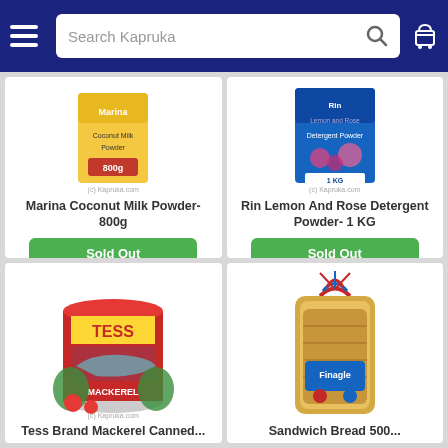Search Kapruka
Marina Coconut Milk Powder- 800g
Sold Out
Rin Lemon And Rose Detergent Powder- 1 KG
Sold Out
[Figure (photo): Tess Brand Mackerel canned fish product with vegetables]
[Figure (photo): Sandwich Bread 500g packaged bread from Finagle brand]
Tess Brand Mackerel Canned...
Sandwich Bread 500...